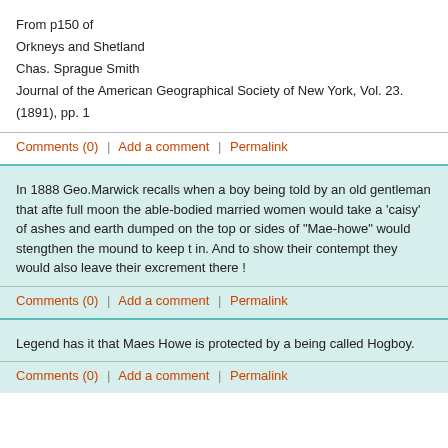From p150 of
Orkneys and Shetland
Chas. Sprague Smith
Journal of the American Geographical Society of New York, Vol. 23. (1891), pp. 1
Comments (0)  |  Add a comment  |  Permalink
In 1888 Geo.Marwick recalls when a boy being told by an old gentleman that afte full moon the able-bodied married women would take a 'caisy' of ashes and earth dumped on the top or sides of "Mae-howe" would stengthen the mound to keep t in. And to show their contempt they would also leave their excrement there !
Comments (0)  |  Add a comment  |  Permalink
Legend has it that Maes Howe is protected by a being called Hogboy.
Comments (0)  |  Add a comment  |  Permalink